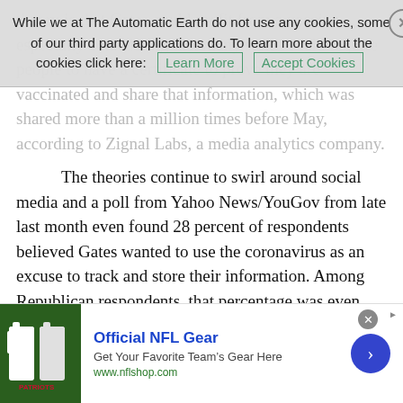theory is that Gates could profit from a vaccine, especially considering that many states could require people to have a certificate to prove they are vaccinated and share that information, which was shared more than a million times before May, according to Zignal Labs, a media analytics company.
The theories continue to swirl around social media and a poll from Yahoo News/YouGov from late last month even found 28 percent of respondents believed Gates wanted to use the coronavirus as an excuse to track and store their information. Among Republican respondents, that percentage was even higher. “I’ve never been involved in any microchip type thing,” Gates said, calling the poll results “concerning.” He did admit “data systems” would be a good idea to track a Covid-19 vaccine, but “there’s no chips or anything like that.” Gates has thrown his support behind a “national tracking system.” Concerns and theories about Gates’ influence have only intensified as his standing in the world has increased.
Already the second richest man on the planet with a net worth of
[Figure (screenshot): Cookie consent banner overlay: 'While we at The Automatic Earth do not use any cookies, some of our third party applications do. To learn more about the cookies click here: [Learn More] [Accept Cookies]' with an X close button]
[Figure (screenshot): Advertisement banner at bottom: Official NFL Gear - Get Your Favorite Team's Gear Here, www.nflshop.com, with NFL jerseys image on left and blue arrow button on right]